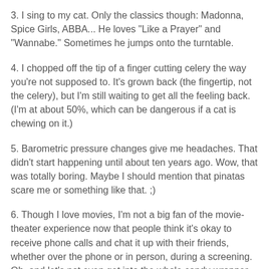3. I sing to my cat. Only the classics though: Madonna, Spice Girls, ABBA... He loves "Like a Prayer" and "Wannabe." Sometimes he jumps onto the turntable.
4. I chopped off the tip of a finger cutting celery the way you're not supposed to. It's grown back (the fingertip, not the celery), but I'm still waiting to get all the feeling back. (I'm at about 50%, which can be dangerous if a cat is chewing on it.)
5. Barometric pressure changes give me headaches. That didn't start happening until about ten years ago. Wow, that was totally boring. Maybe I should mention that pinatas scare me or something like that. ;)
6. Though I love movies, I'm not a big fan of the movie-theater experience now that people think it's okay to receive phone calls and chat it up with their friends, whether over the phone or in person, during a screening. Oh, and let's not even get into the whole candy-wrapper crinkling thing. Yeah, I've got issues, just ask the DH. ;)